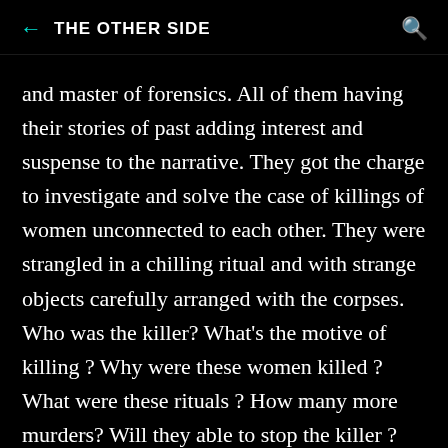THE OTHER SIDE
and master of forensics. All of them having their stories of past adding interest and suspense to the narrative. They got the charge to investigate and solve the case of killings of women unconnected to each other. They were strangled in a chilling ritual and with strange objects carefully arranged with the corpses. Who was the killer? What's the motive of killing ? Why were these women killed ? What were these rituals ? How many more murders? Will they able to stop the killer ? How the Private India is connected to the killings ? What role does head of Private play